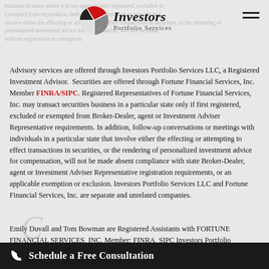[Figure (logo): Investors Portfolio Services logo with pie-chart icon and text]
Advisory services are offered through Investors Portfolio Services LLC, a Registered Investment Advisor. Securities are offered through Fortune Financial Services, Inc. Member FINRA/SIPC. Registered Representatives of Fortune Financial Services, Inc. may transact securities business in a particular state only if first registered, excluded or exempted from Broker-Dealer, agent or Investment Adviser Representative requirements. In addition, follow-up conversations or meetings with individuals in a particular state that involve either the effecting or attempting to effect transactions in securities, or the rendering of personalized investment advice for compensation, will not be made absent compliance with state Broker-Dealer, agent or Investment Adviser Representative registration requirements, or an applicable exemption or exclusion. Investors Portfolio Services LLC and Fortune Financial Services, Inc. are separate and unrelated companies.
Emily Duvall and Tom Bowman are Registered Assistants with FORTUNE FINANCIAL SERVICES, INC. Member: FINRA, SIPC Investors Portfolio Services LLC are affiliated Financial Services companies and are
Schedule a Free Consultation